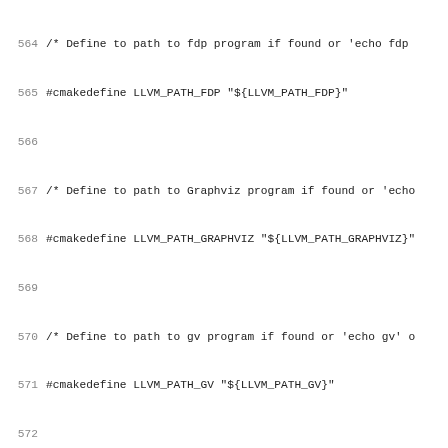Code listing lines 564-595 showing LLVM cmake defines for PATH_FDP, PATH_GRAPHVIZ, PATH_GV, PATH_NEATO, PATH_TWOPI, PATH_XDOT, PREFIX, USE_INTEL_JITEVENTS, USE_OPROFILE, VERSION_MAJOR, VERSION_MINOR